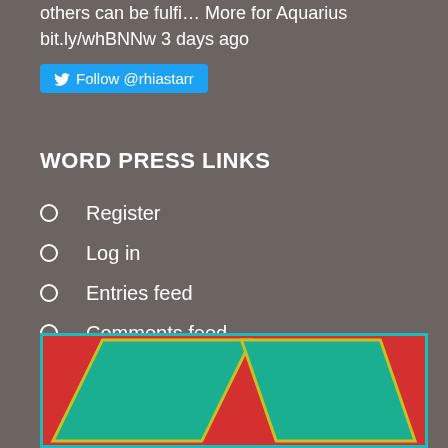others can be fulfi… More for Aquarius
bit.ly/whBNNw 3 days ago
Follow @rhiastarr
WORD PRESS LINKS
Register
Log in
Entries feed
Comments feed
WordPress.com
[Figure (illustration): Colorful graphic with teal geometric shapes on a red background with a teal border, partially visible at the bottom of the page.]